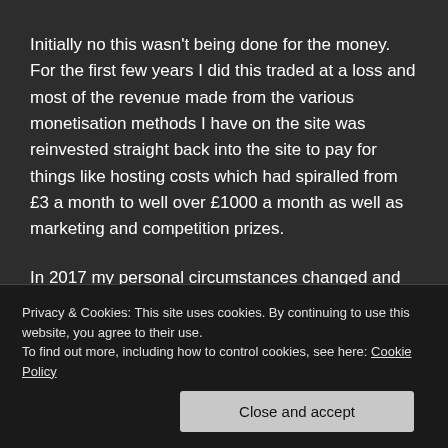Initially no this wasn't being done for the money. For the first few years I did this traded at a loss and most of the revenue made from the various monetisation methods I have on the site was reinvested straight back into the site to pay for things like hosting costs which had spiralled from £3 a month to well over £1000 a month as well as marketing and competition prizes.
In 2017 my personal circumstances changed and as a result I now have to take an income out of any revenue I receive and this is now like a full time job to me. Just not
Privacy & Cookies: This site uses cookies. By continuing to use this website, you agree to their use.
To find out more, including how to control cookies, see here: Cookie Policy